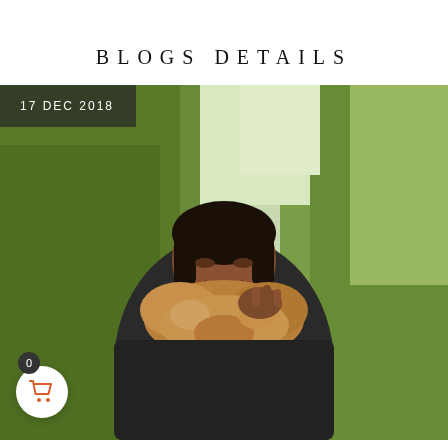BLOGS DETAILS
[Figure (photo): A smiling woman outdoors, wearing a dark coat with a large fur collar, surrounded by green trees. A date badge overlay reads '17 DEC 2018'. A shopping cart button with count '0' is in the lower left corner.]